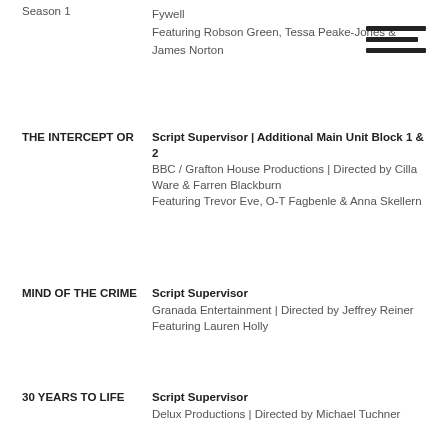Season 1 | Fywell
Featuring Robson Green, Tessa Peake-Jones & James Norton
THE INTERCEPTOR | Script Supervisor | Additional Main Unit Block 1 & 2
BBC / Grafton House Productions | Directed by Cilla Ware & Farren Blackburn
Featuring Trevor Eve, O-T Fagbenle & Anna Skellern
MIND OF THE CRIME | Script Supervisor
Granada Entertainment | Directed by Jeffrey Reiner
Featuring Lauren Holly
30 YEARS TO LIFE | Script Supervisor
Delux Productions | Directed by Michael Tuchner